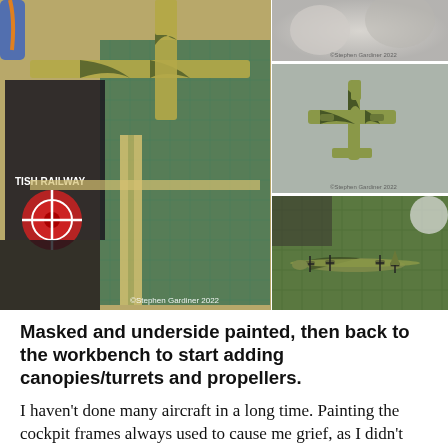[Figure (photo): Four photos of model aircraft building process. Large left photo shows a camouflage-painted model aircraft with masking tape applied, placed on a cutting mat over a British Railways board. Top-right shows a blurred close-up. Middle-right shows a small camouflage-painted aircraft model flat view. Bottom-right shows assembled model Lancaster bomber on a cutting mat. Watermarks read ©Stephen Gardiner 2022.]
Masked and underside painted, then back to the workbench to start adding canopies/turrets and propellers.
I haven't done many aircraft in a long time. Painting the cockpit frames always used to cause me grief, as I didn't really understand